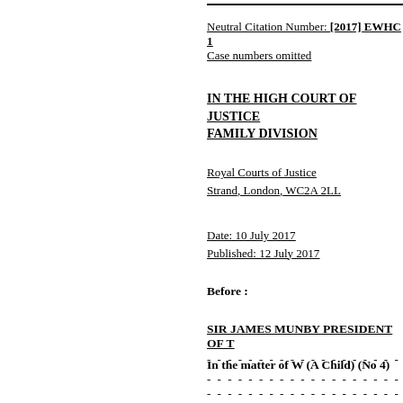Neutral Citation Number: [2017] EWHC 1
Case numbers omitted
IN THE HIGH COURT OF JUSTICE FAMILY DIVISION
Royal Courts of Justice
Strand, London, WC2A 2LL
Date: 10 July 2017
Published: 12 July 2017
Before :
SIR JAMES MUNBY PRESIDENT OF T
- - - - - - - - - - - - - - - - - - -
In the matter of W (A Child) (No 4)
- - - - - - - - - - - - - - - - - - -
- - - - - - - - - - - - - - - - - - -
Ms Janet Bazley QC and Mr Chris Bar
father
Mr Frank Feehan QC and Ms Madelei
adoptive parents
Mr Andrew Bagchi QC and Mr Marti
City Council Legal Services) for the lea